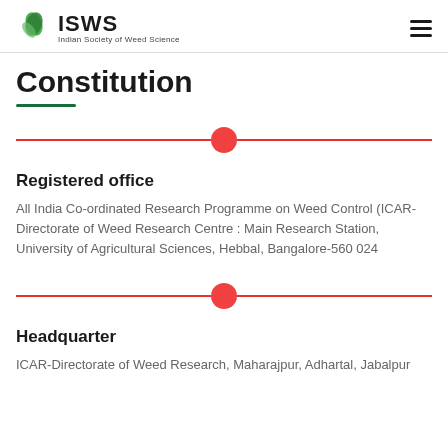ISWS Indian Society of Weed Science
Constitution
Registered office
All India Co-ordinated Research Programme on Weed Control (ICAR-Directorate of Weed Research Centre : Main Research Station, University of Agricultural Sciences, Hebbal, Bangalore-560 024
Headquarter
ICAR-Directorate of Weed Research, Maharajpur, Adhartal, Jabalpur